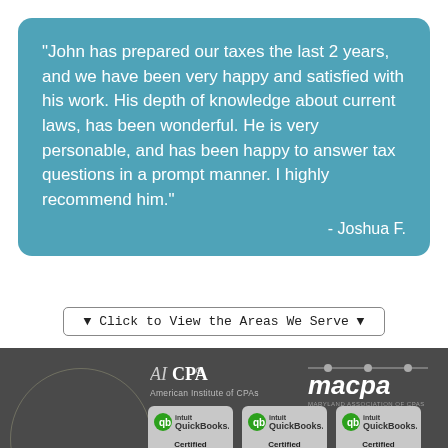"John has prepared our taxes the last 2 years, and we have been very happy and satisfied with his work. His depth of knowledge about current laws, has been wonderful. He is very personable, and has been happy to answer tax questions in a prompt manner. I highly recommend him." - Joshua F.
▼ Click to View the Areas We Serve ▼
[Figure (logo): AICPA (American Institute of CPAs) logo, macpa logo, and six QuickBooks Certified ProAdvisor badges (Desktop, Point of Sale, Enterprise, and three Advanced Certified ProAdvisor badges) on a dark gray background]